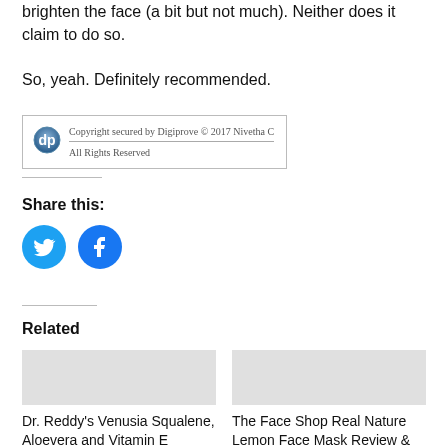brighten the face (a bit but not much). Neither does it claim to do so.
So, yeah. Definitely recommended.
[Figure (other): Digiprove copyright box: Copyright secured by Digiprove © 2017 Nivetha C. All Rights Reserved.]
Share this:
[Figure (other): Social media share buttons: Twitter (blue bird icon) and Facebook (blue f icon)]
Related
Dr. Reddy's Venusia Squalene, Aloevera and Vitamin E cream...
The Face Shop Real Nature Lemon Face Mask Review & How To Use...